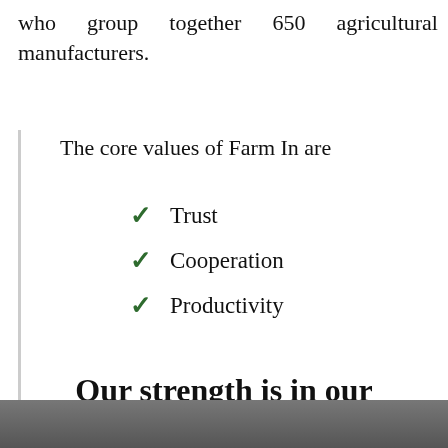who group together 650 agricultural manufacturers.
The core values of Farm In are
Trust
Cooperation
Productivity
Our strength is in our members
[Figure (photo): Bottom strip showing a partial photograph of people or a farm scene]